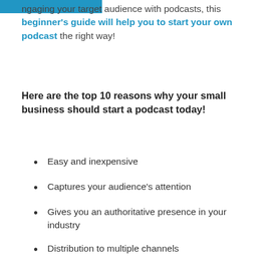ngaging your target audience with podcasts, this beginner's guide will help you to start your own podcast the right way!
Here are the top 10 reasons why your small business should start a podcast today!
Easy and inexpensive
Captures your audience's attention
Gives you an authoritative presence in your industry
Distribution to multiple channels
Creates brand awareness
Flexible to deliver and access